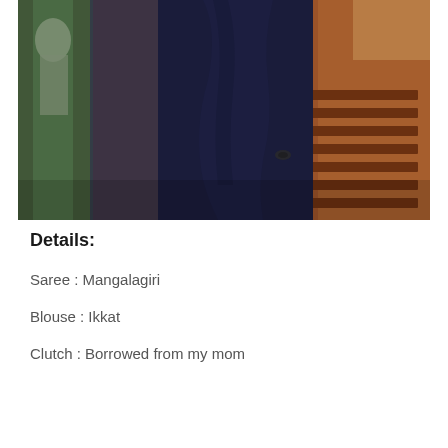[Figure (photo): A person wearing a dark navy blue saree (Mangalagiri) photographed from behind, standing in what appears to be an ornate interior space with green stone columns on the left and warm-toned wooden furniture/benches on the right.]
Details:
Saree : Mangalagiri
Blouse : Ikkat
Clutch : Borrowed from my mom